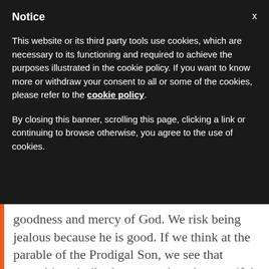Notice
This website or its third party tools use cookies, which are necessary to its functioning and required to achieve the purposes illustrated in the cookie policy. If you want to know more or withdraw your consent to all or some of the cookies, please refer to the cookie policy.
By closing this banner, scrolling this page, clicking a link or continuing to browse otherwise, you agree to the use of cookies.
goodness and mercy of God. We risk being jealous because he is good. If we think at the parable of the Prodigal Son, we see that something similar happens when the merciful Father welcomes with open arms the wayward son who has squandered all the claimed inheritance. The father organizes a big party for him, but arouses the indignation and